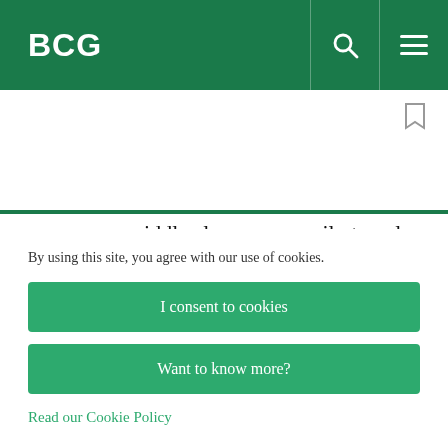BCG
now upper middle class—can easily travel to other countries.
Upper-middle-class consumers in Asia are more willing than the middle class to pay for premium-quality goods and services that enhance their sense
By using this site, you agree with our use of cookies.
I consent to cookies
Want to know more?
Read our Cookie Policy